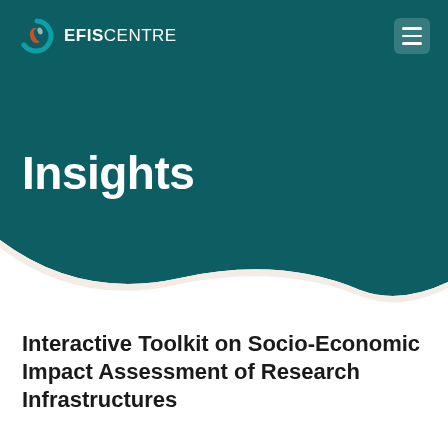[Figure (logo): EFIS Centre logo with teal/orange swirl icon and white text on dark teal background]
Insights
Interactive Toolkit on Socio-Economic Impact Assessment of Research Infrastructures